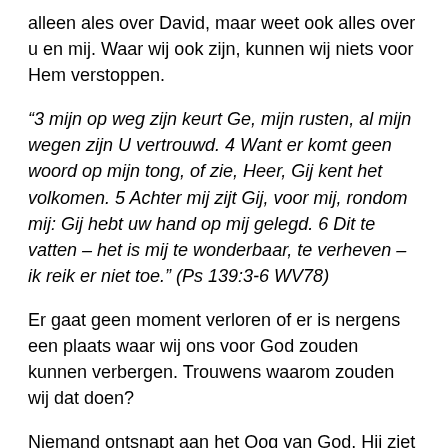alleen ales over David, maar weet ook alles over u en mij. Waar wij ook zijn, kunnen wij niets voor Hem verstoppen.
“3 mijn op weg zijn keurt Ge, mijn rusten, al mijn wegen zijn U vertrouwd. 4 Want er komt geen woord op mijn tong, of zie, Heer, Gij kent het volkomen. 5 Achter mij zijt Gij, voor mij, rondom mij: Gij hebt uw hand op mij gelegd. 6 Dit te vatten – het is mij te wonderbaar, te verheven – ik reik er niet toe.” (Ps 139:3-6 WV78)
Er gaat geen moment verloren of er is nergens een plaats waar wij ons voor God zouden kunnen verbergen. Trouwens waarom zouden wij dat doen?
Niemand ontsnapt aan het Oog van God. Hij ziet alles wat er gebeurd op deze aarde en kent elkeen die er rond loopt. Of het nu nacht of dag is Hij ziet ons en kent onze